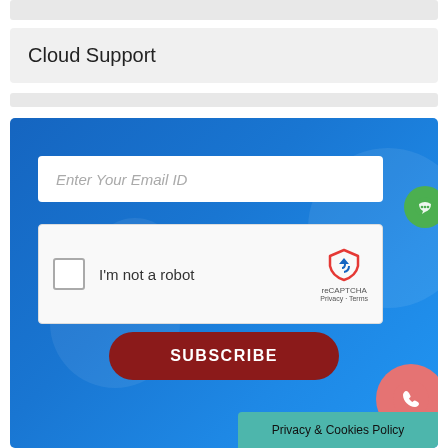Cloud Support
[Figure (screenshot): Email subscription form with blue background, Enter Your Email ID input field, reCAPTCHA widget showing checkbox and 'I'm not a robot' text, a dark red SUBSCRIBE button, a green chat bubble icon on the right side, a red phone call button at bottom right, and a teal Privacy & Cookies Policy banner at bottom right.]
Privacy & Cookies Policy